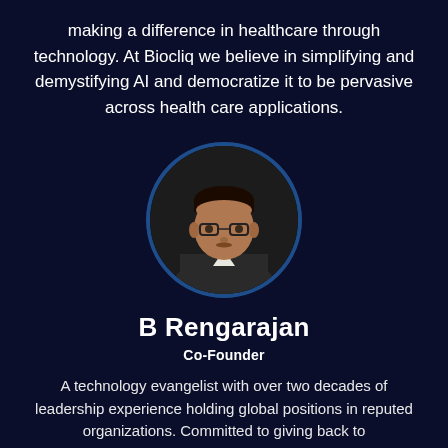making a difference in healthcare through technology. At Biocliq we believe in simplifying and demystifying AI and democratize it to be pervasive across health care applications.
[Figure (photo): Portrait photo of B Rengarajan, a man with glasses wearing a dark suit, displayed in a circular frame with dark blue border]
B Rengarajan
Co-Founder
A technology evangelist with over two decades of leadership experience holding global positions in reputed organizations. Committed to giving back to